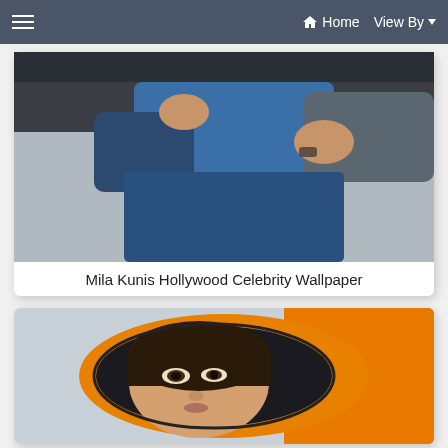☰  Home  View By ▼
[Figure (photo): Two people hugging outdoors, one wearing a blue jacket, partially cropped at top]
Mila Kunis Hollywood Celebrity Wallpaper
[Figure (photo): Woman's face reflected in an orange car side mirror with blurred background]